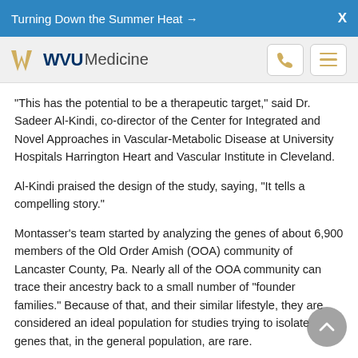Turning Down the Summer Heat →   X
[Figure (logo): WVU Medicine logo with phone and menu icons]
"This has the potential to be a therapeutic target," said Dr. Sadeer Al-Kindi, co-director of the Center for Integrated and Novel Approaches in Vascular-Metabolic Disease at University Hospitals Harrington Heart and Vascular Institute in Cleveland.
Al-Kindi praised the design of the study, saying, "It tells a compelling story."
Montasser's team started by analyzing the genes of about 6,900 members of the Old Order Amish (OOA) community of Lancaster County, Pa. Nearly all of the OOA community can trace their ancestry back to a small number of "founder families." Because of that, and their similar lifestyle, they are considered an ideal population for studies trying to isolate genes that, in the general population, are rare.